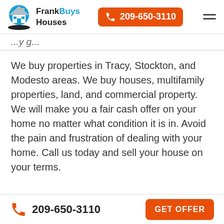Frank Buys Houses | 209-650-3110
We buy properties in Tracy, Stockton, and Modesto areas. We buy houses, multifamily properties, land, and commercial property. We will make you a fair cash offer on your home no matter what condition it is in. Avoid the pain and frustration of dealing with your home. Call us today and sell your house on your terms.
209-650-3110 | GET OFFER